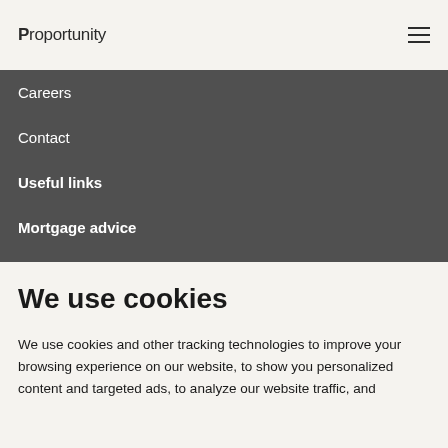Proportunity
Careers
Contact
Useful links
Mortgage advice
We use cookies
We use cookies and other tracking technologies to improve your browsing experience on our website, to show you personalized content and targeted ads, to analyze our website traffic, and